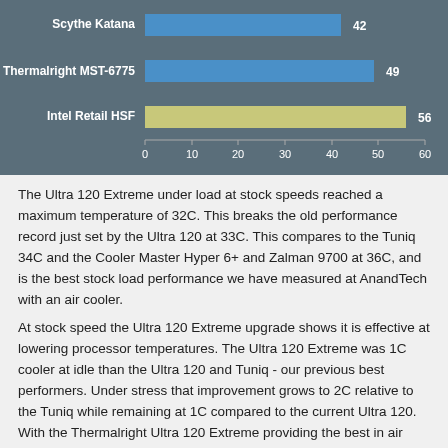[Figure (bar-chart): ]
The Ultra 120 Extreme under load at stock speeds reached a maximum temperature of 32C. This breaks the old performance record just set by the Ultra 120 at 33C. This compares to the Tuniq 34C and the Cooler Master Hyper 6+ and Zalman 9700 at 36C, and is the best stock load performance we have measured at AnandTech with an air cooler.
At stock speed the Ultra 120 Extreme upgrade shows it is effective at lowering processor temperatures. The Ultra 120 Extreme was 1C cooler at idle than the Ultra 120 and Tuniq - our previous best performers. Under stress that improvement grows to 2C relative to the Tuniq while remaining at 1C compared to the current Ultra 120. With the Thermalright Ultra 120 Extreme providing the best in air cooling, we took a closer look at cooling along with overclocking.